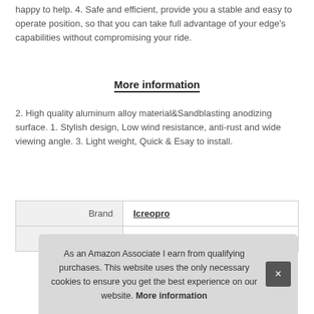happy to help. 4. Safe and efficient, provide you a stable and easy to operate position, so that you can take full advantage of your edge's capabilities without compromising your ride.
More information
2. High quality aluminum alloy material&Sandblasting anodizing surface. 1. Stylish design, Low wind resistance, anti-rust and wide viewing angle. 3. Light weight, Quick & Esay to install.
|  |  |
| --- | --- |
| Brand | Icreopro |
| Manufacturer | Icreopro |
As an Amazon Associate I earn from qualifying purchases. This website uses the only necessary cookies to ensure you get the best experience on our website. More information